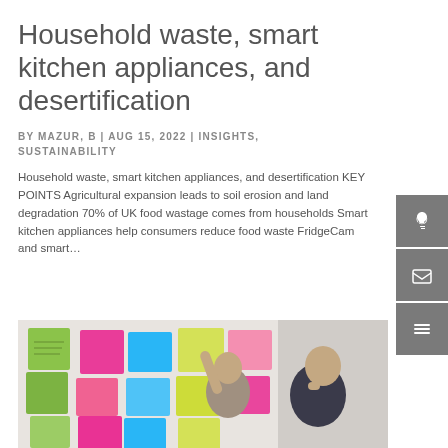Household waste, smart kitchen appliances, and desertification
BY MAZUR, B | AUG 15, 2022 | INSIGHTS, SUSTAINABILITY
Household waste, smart kitchen appliances, and desertification KEY POINTS Agricultural expansion leads to soil erosion and land degradation 70% of UK food wastage comes from households Smart kitchen appliances help consumers reduce food waste FridgeCam and smart…
[Figure (photo): Two men looking at colorful sticky notes (green, pink, blue, yellow) on a wall or whiteboard in a collaborative work session.]